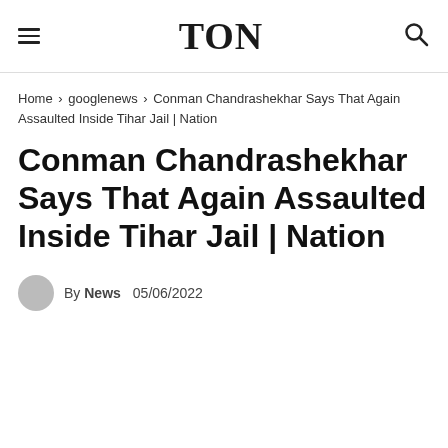TON
Home › googlenews › Conman Chandrashekhar Says That Again Assaulted Inside Tihar Jail | Nation
Conman Chandrashekhar Says That Again Assaulted Inside Tihar Jail | Nation
By News 05/06/2022